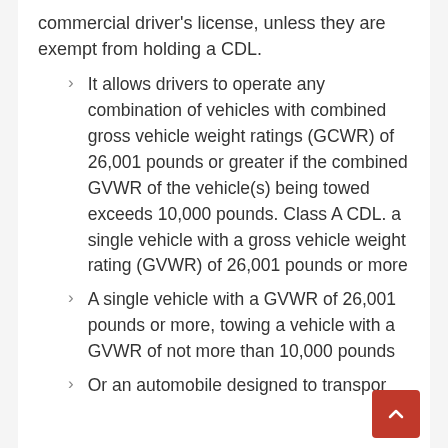commercial driver's license, unless they are exempt from holding a CDL.
It allows drivers to operate any combination of vehicles with combined gross vehicle weight ratings (GCWR) of 26,001 pounds or greater if the combined GVWR of the vehicle(s) being towed exceeds 10,000 pounds. Class A CDL. a single vehicle with a gross vehicle weight rating (GVWR) of 26,001 pounds or more
A single vehicle with a GVWR of 26,001 pounds or more, towing a vehicle with a GVWR of not more than 10,000 pounds
Or an automobile designed to transport